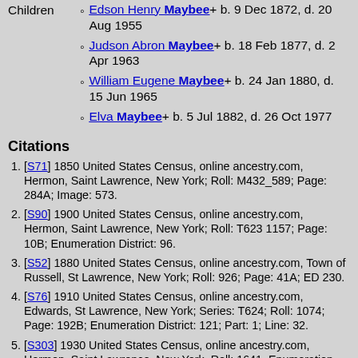Family ... d. 22 Aug 2001; d. 2 Dec 1922
Edson Henry Maybee+ b. 9 Dec 1872, d. 20 Aug 1955
Judson Abron Maybee+ b. 18 Feb 1877, d. 2 Apr 1963
William Eugene Maybee+ b. 24 Jan 1880, d. 15 Jun 1965
Elva Maybee+ b. 5 Jul 1882, d. 26 Oct 1977
Citations
[S71] 1850 United States Census, online ancestry.com, Hermon, Saint Lawrence, New York; Roll: M432_589; Page: 284A; Image: 573.
[S90] 1900 United States Census, online ancestry.com, Hermon, Saint Lawrence, New York; Roll: T623 1157; Page: 10B; Enumeration District: 96.
[S52] 1880 United States Census, online ancestry.com, Town of Russell, St Lawrence, New York; Roll: 926; Page: 41A; ED 230.
[S76] 1910 United States Census, online ancestry.com, Edwards, St Lawrence, New York; Series: T624; Roll: 1074; Page: 192B; Enumeration District: 121; Part: 1; Line: 32.
[S303] 1930 United States Census, online ancestry.com, Hermon, Saint Lawrence, New York, Roll: 1641, Enumeration District: 30, Image: 782.